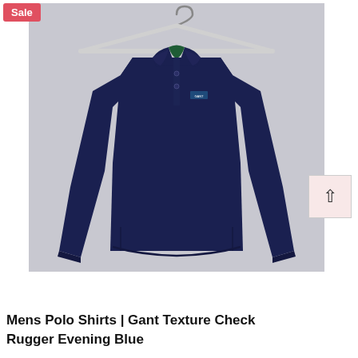[Figure (photo): Navy blue long-sleeve polo shirt (Gant Texture Check Rugger Evening Blue) on a white hanger against a light grey background. The shirt has a polo collar and two buttons at the chest. A small 'Sale' badge is visible in the top-left corner of the image area.]
Mens Polo Shirts | Gant Texture Check Rugger Evening Blue